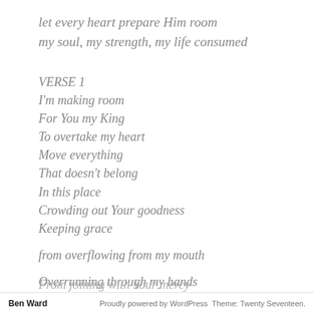let every heart prepare Him room
my soul, my strength, my life consumed
VERSE 1
I'm making room
For You my King
To overtake my heart
Move everything
That doesn't belong
In this place
Crowding out Your goodness
Keeping grace
from overflowing from my mouth
Overrunning through my hands
From joining with Your mercy
Ben Ward   Proudly powered by WordPress Theme: Twenty Seventeen.